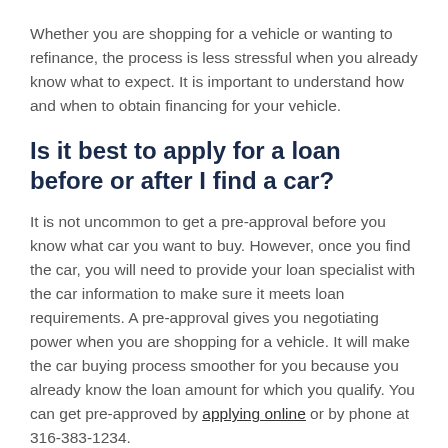Whether you are shopping for a vehicle or wanting to refinance, the process is less stressful when you already know what to expect. It is important to understand how and when to obtain financing for your vehicle.
Is it best to apply for a loan before or after I find a car?
It is not uncommon to get a pre-approval before you know what car you want to buy. However, once you find the car, you will need to provide your loan specialist with the car information to make sure it meets loan requirements. A pre-approval gives you negotiating power when you are shopping for a vehicle. It will make the car buying process smoother for you because you already know the loan amount for which you qualify. You can get pre-approved by applying online or by phone at 316-383-1234.
If you decide to apply for a vehicle loan before you have